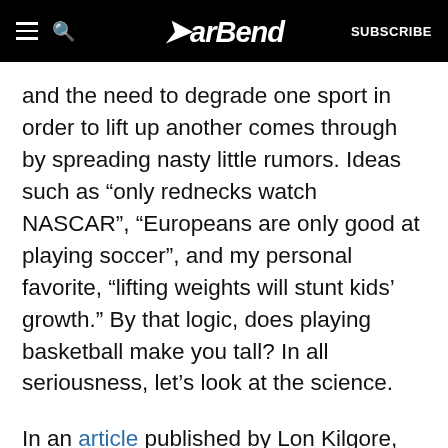BarBend — SUBSCRIBE
and the need to degrade one sport in order to lift up another comes through by spreading nasty little rumors. Ideas such as “only rednecks watch NASCAR”, “Europeans are only good at playing soccer”, and my personal favorite, “lifting weights will stunt kids’ growth.” By that logic, does playing basketball make you tall? In all seriousness, let’s look at the science.
In an article published by Lon Kilgore, PhD., “Misconceptions about Training Youth,”